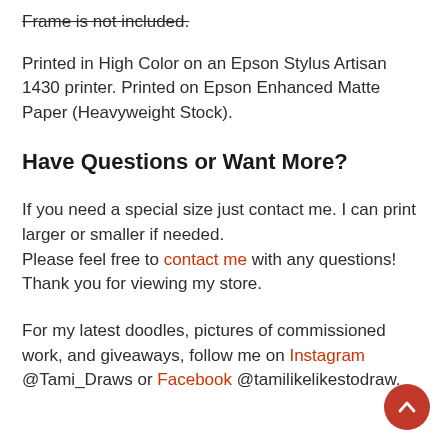Frame is not included.
Printed in High Color on an Epson Stylus Artisan 1430 printer. Printed on Epson Enhanced Matte Paper (Heavyweight Stock).
Have Questions or Want More?
If you need a special size just contact me. I can print larger or smaller if needed.
Please feel free to contact me with any questions! Thank you for viewing my store.
For my latest doodles, pictures of commissioned work, and giveaways, follow me on Instagram @Tami_Draws or Facebook @tamilikelikestodraw.